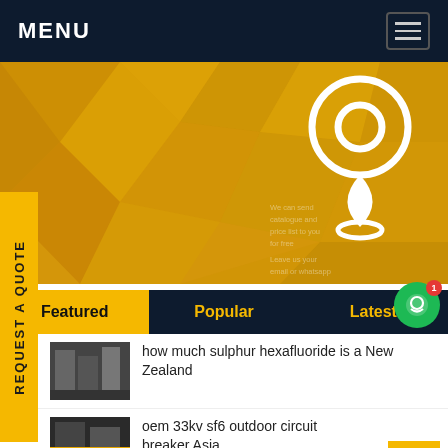MENU
[Figure (screenshot): Yellow hero banner with geometric shapes and a white location pin icon, with faded text overlay]
REQUEST A QUOTE
Featured | Popular | Latest
how much sulphur hexafluoride is a New Zealand
oem 33kv sf6 outdoor circuit breaker Asia
odm sf6 co2 United Kingdom